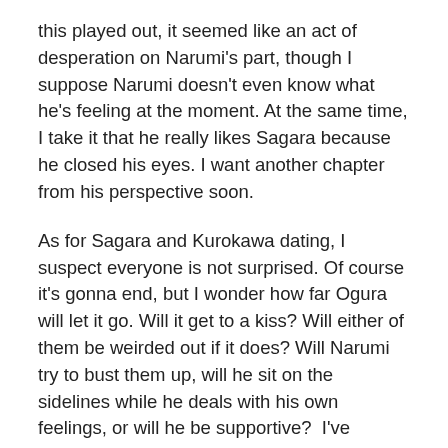this played out, it seemed like an act of desperation on Narumi's part, though I suppose Narumi doesn't even know what he's feeling at the moment. At the same time, I take it that he really likes Sagara because he closed his eyes. I want another chapter from his perspective soon.
As for Sagara and Kurokawa dating, I suspect everyone is not surprised. Of course it's gonna end, but I wonder how far Ogura will let it go. Will it get to a kiss? Will either of them be weirded out if it does? Will Narumi try to bust them up, will he sit on the sidelines while he deals with his own feelings, or will he be supportive?  I've already read chapter 9, so I know his short-term reaction. Actually, there are a lot of interesting nuggets to think about in chapter 9... but I won't spoil.